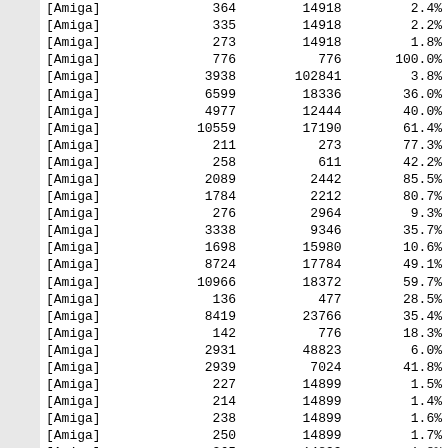|  |  |  |  |
| --- | --- | --- | --- |
| [Amiga] | 364 | 14918 | 2.4% |
| [Amiga] | 335 | 14918 | 2.2% |
| [Amiga] | 273 | 14918 | 1.8% |
| [Amiga] | 776 | 776 | 100.0% |
| [Amiga] | 3938 | 102841 | 3.8% |
| [Amiga] | 6599 | 18336 | 36.0% |
| [Amiga] | 4977 | 12444 | 40.0% |
| [Amiga] | 10559 | 17190 | 61.4% |
| [Amiga] | 211 | 273 | 77.3% |
| [Amiga] | 258 | 611 | 42.2% |
| [Amiga] | 2089 | 2442 | 85.5% |
| [Amiga] | 1784 | 2212 | 80.7% |
| [Amiga] | 276 | 2964 | 9.3% |
| [Amiga] | 3338 | 9346 | 35.7% |
| [Amiga] | 1698 | 15980 | 10.6% |
| [Amiga] | 8724 | 17784 | 49.1% |
| [Amiga] | 10966 | 18372 | 59.7% |
| [Amiga] | 136 | 477 | 28.5% |
| [Amiga] | 8419 | 23766 | 35.4% |
| [Amiga] | 142 | 776 | 18.3% |
| [Amiga] | 2931 | 48823 | 6.0% |
| [Amiga] | 2939 | 7024 | 41.8% |
| [Amiga] | 227 | 14899 | 1.5% |
| [Amiga] | 214 | 14899 | 1.4% |
| [Amiga] | 238 | 14899 | 1.6% |
| [Amiga] | 250 | 14899 | 1.7% |
| [Amiga] | 265 | 14899 | 1.8% |
| [Amiga] | 185 | 14899 | 1.2% |
| [Amiga] | 295 | 14899 | 2.0% |
| [Amiga] | 292 | 14899 | 2.0% |